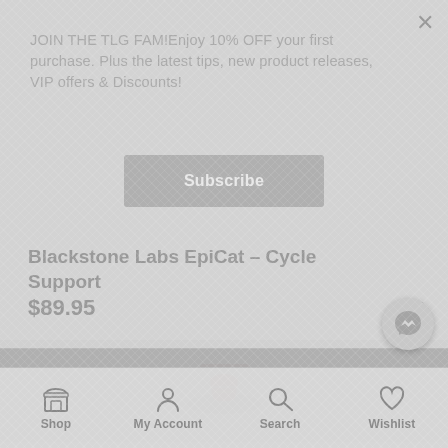JOIN THE TLG FAM!Enjoy 10% OFF your first purchase. Plus the latest tips, new product releases, VIP offers & Discounts!
Subscribe
Blackstone Labs EpiCat – Cycle Support
$89.95
[Figure (photo): Product image at bottom of page, partially visible]
[Figure (illustration): Messenger chat bubble icon in bottom right corner]
Shop  My Account  Search  Wishlist